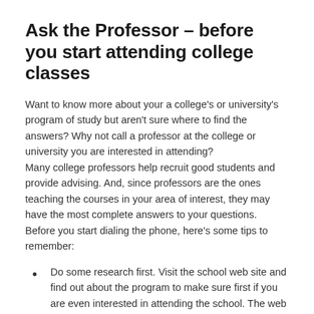Ask the Professor – before you start attending college classes
Want to know more about your a college's or university's program of study but aren't sure where to find the answers? Why not call a professor at the college or university you are interested in attending? Many college professors help recruit good students and provide advising. And, since professors are the ones teaching the courses in your area of interest, they may have the most complete answers to your questions. Before you start dialing the phone, here's some tips to remember:
Do some research first. Visit the school web site and find out about the program to make sure first if you are even interested in attending the school. The web site will also provide you with basic information so you can ask more specific questions,